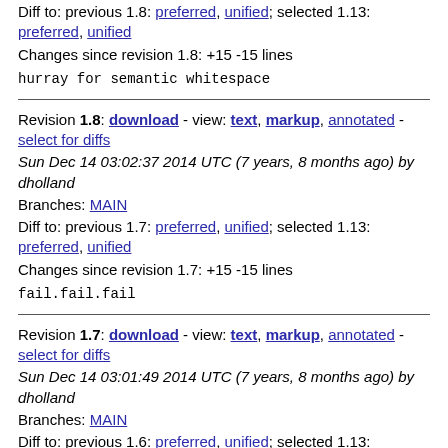Diff to: previous 1.8: preferred, unified; selected 1.13: preferred, unified
Changes since revision 1.8: +15 -15 lines
hurray for semantic whitespace
Revision 1.8: download - view: text, markup, annotated - select for diffs
Sun Dec 14 03:02:37 2014 UTC (7 years, 8 months ago) by dholland
Branches: MAIN
Diff to: previous 1.7: preferred, unified; selected 1.13: preferred, unified
Changes since revision 1.7: +15 -15 lines
fail.fail.fail
Revision 1.7: download - view: text, markup, annotated - select for diffs
Sun Dec 14 03:01:49 2014 UTC (7 years, 8 months ago) by dholland
Branches: MAIN
Diff to: previous 1.6: preferred, unified; selected 1.13: preferred, unified
Changes since revision 1.6: +15 -15 lines
fail.fail.fail